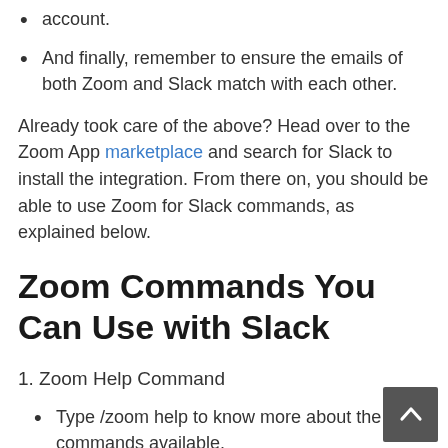account.
And finally, remember to ensure the emails of both Zoom and Slack match with each other.
Already took care of the above? Head over to the Zoom App marketplace and search for Slack to install the integration. From there on, you should be able to use Zoom for Slack commands, as explained below.
Zoom Commands You Can Use with Slack
1. Zoom Help Command
Type /zoom help to know more about the commands available.